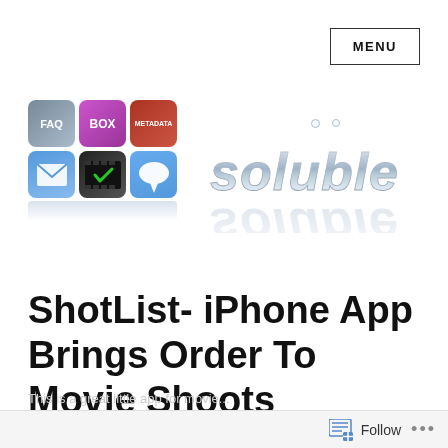MENU
[Figure (screenshot): App icon grid showing 6 iOS app icons in a 3x2 grid: FAQ (grey), BOX (purple), a red app, a mail envelope (blue/sky), a film checklist, and a speech bubble (blue). Below the grid is a reflection effect.]
[Figure (logo): Soluble brand logo with metallic/chrome 3D lettering and decorative bubble dots above, with reflection below.]
ShotList- iPhone App Brings Order To Movie Shoots
Follow ...